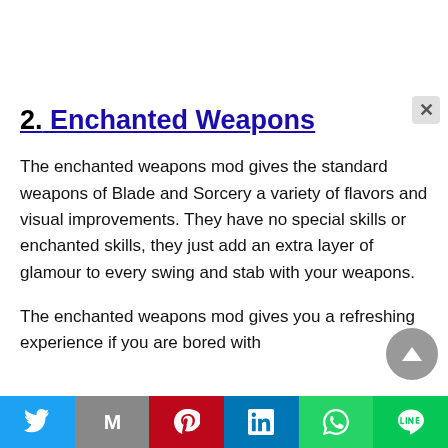2. Enchanted Weapons
The enchanted weapons mod gives the standard weapons of Blade and Sorcery a variety of flavors and visual improvements. They have no special skills or enchanted skills, they just add an extra layer of glamour to every swing and stab with your weapons.
The enchanted weapons mod gives you a refreshing experience if you are bored with